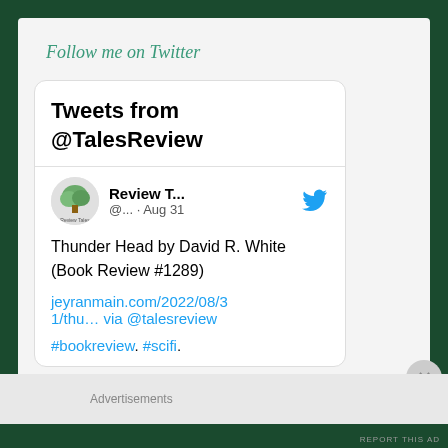Follow me on Twitter
[Figure (screenshot): Twitter widget showing tweets from @TalesReview, with a tweet by Review T... (@... · Aug 31) about Thunder Head by David R. White (Book Review #1289) with link jeyranmain.com/2022/08/31/thu... via @talesreview and hashtags #bookreview. #scifi.]
Advertisements